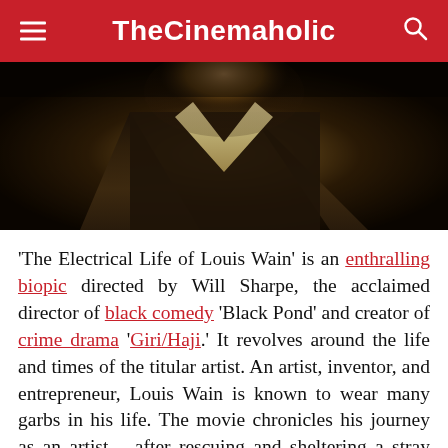TheCinemaholic
[Figure (photo): Close-up photo of a person in a dark suit with a light-colored collar/shirt, shot in warm, dark tones]
'The Electrical Life of Louis Wain' is an enthralling biopic directed by Will Sharpe, the acclaimed director of black comedy 'Black Pond' and creator of crime drama 'Giri/Haji.' It revolves around the life and times of the titular artist. An artist, inventor, and entrepreneur, Louis Wain is known to wear many garbs in his life. The movie chronicles his journey as an artist – after rescuing and sheltering a stray kitten, he goes on to paint